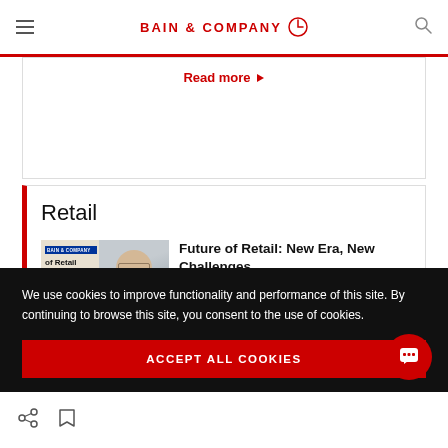BAIN & COMPANY
Read more
Retail
[Figure (photo): Book cover and headshot photo of Marc-André Kamel for Future of Retail article]
Future of Retail: New Era, New Challenges
Bain Partner Marc-André Kamel
We use cookies to improve functionality and performance of this site. By continuing to browse this site, you consent to the use of cookies.
ACCEPT ALL COOKIES